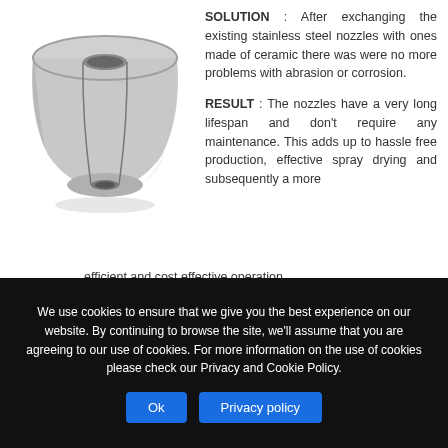[Figure (illustration): A ceramic nozzle component shown in 3D perspective, gray color, cylindrical with a flared top and a hole through the center.]
SOLUTION : After exchanging the existing stainless steel nozzles with ones made of ceramic there was were no more problems with abrasion or corrosion.
RESULT : The nozzles have a very long lifespan and don't require any maintenance. This adds up to hassle free production, effective spray drying and subsequently a more efficient and cost effective operation.
We use cookies to ensure that we give you the best experience on our website. By continuing to browse the site, we'll assume that you are agreeing to our use of cookies. For more information on the use of cookies please check our Privacy and Cookie Policy.